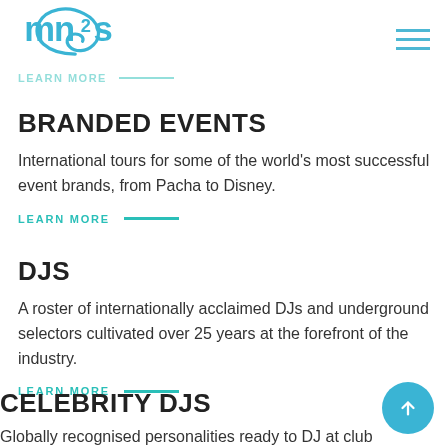[Figure (logo): mn2s logo in blue/cyan with stylized swirl graphic]
LEARN MORE
BRANDED EVENTS
International tours for some of the world's most successful event brands, from Pacha to Disney.
LEARN MORE
DJS
A roster of internationally acclaimed DJs and underground selectors cultivated over 25 years at the forefront of the industry.
LEARN MORE
CELEBRITY DJS
Globally recognised personalities ready to DJ at club